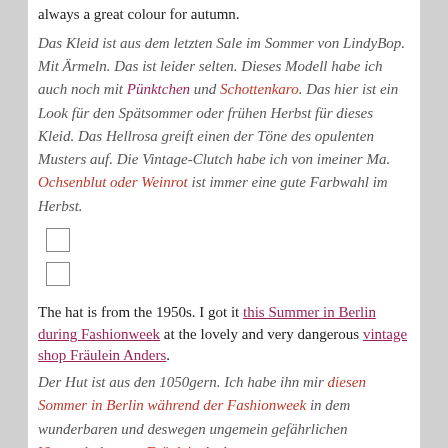always a great colour for autumn.
Das Kleid ist aus dem letzten Sale im Sommer von LindyBop. Mit Ärmeln. Das ist leider selten. Dieses Modell habe ich auch noch mit Pünktchen und Schottenkaro. Das hier ist ein Look für den Spätsommer oder frühen Herbst für dieses Kleid. Das Hellrosa greift einen der Töne des opulenten Musters auf. Die Vintage-Clutch habe ich von imeiner Ma. Ochsenblut oder Weinrot ist immer eine gute Farbwahl im Herbst.
[Figure (other): Two small empty checkboxes stacked vertically]
The hat is from the 1950s. I got it this Summer in Berlin during Fashionweek at the lovely and very dangerous vintage shop Fräulein Anders.
Der Hut ist aus den 1050gern. Ich habe ihn mir diesen Sommer in Berlin während der Fashionweek in dem wunderbaren und deswegen ungemein gefährlichen Vintageladen von Fräulein Anders.